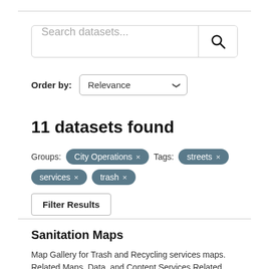[Figure (screenshot): Search datasets input box with search button (magnifying glass icon)]
Order by: Relevance
11 datasets found
Groups: City Operations × Tags: streets × services × trash ×
Filter Results
Sanitation Maps
Map Gallery for Trash and Recycling services maps. Related Maps, Data, and Content Services Related